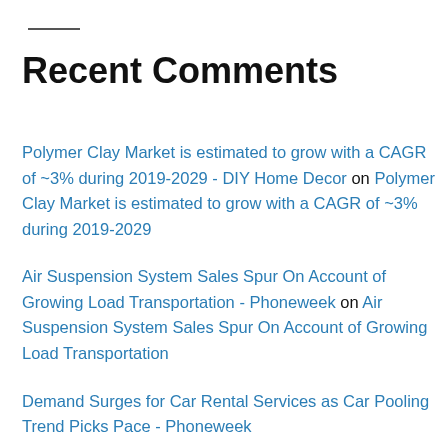Recent Comments
Polymer Clay Market is estimated to grow with a CAGR of ~3% during 2019-2029 - DIY Home Decor on Polymer Clay Market is estimated to grow with a CAGR of ~3% during 2019-2029
Air Suspension System Sales Spur On Account of Growing Load Transportation - Phoneweek on Air Suspension System Sales Spur On Account of Growing Load Transportation
Demand Surges for Car Rental Services as Car Pooling Trend Picks Pace - Phoneweek